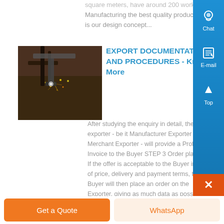square meters, have around 200 workers. Manufacturing the best quality products is our design concept...
[Figure (photo): Industrial laser cutting machine with sparks flying over a metal sheet]
EXPORT DOCUMENTATION AND PROCEDURES - Know More
After studying the enquiry in detail, the exporter - be it Manufacturer Exporter or Merchant Exporter - will provide a Proforma Invoice to the Buyer STEP 3 Order placement If the offer is acceptable to the Buyer in terms of price, delivery and payment terms, the Buyer will then place an order on the Exporter, giving as much data as possible in terms of specifications